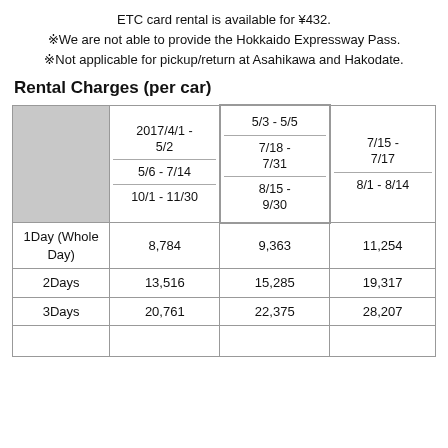ETC card rental is available for ¥432.
※We are not able to provide the Hokkaido Expressway Pass.
※Not applicable for pickup/return at Asahikawa and Hakodate.
Rental Charges (per car)
|  | 2017/4/1 - 5/2 / 5/6 - 7/14 / 10/1 - 11/30 | 5/3 - 5/5 / 7/18 - 7/31 / 8/15 - 9/30 | 7/15 - 7/17 / 8/1 - 8/14 |
| --- | --- | --- | --- |
| 1Day (Whole Day) | 8,784 | 9,363 | 11,254 |
| 2Days | 13,516 | 15,285 | 19,317 |
| 3Days | 20,761 | 22,375 | 28,207 |